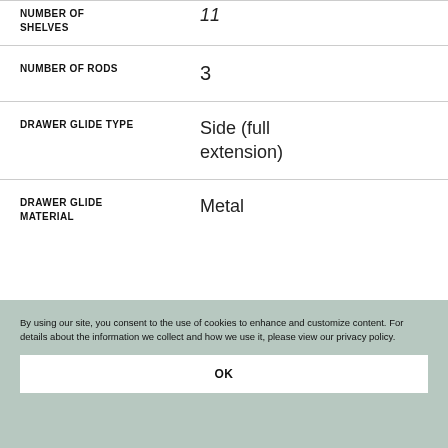| Attribute | Value |
| --- | --- |
| NUMBER OF SHELVES | 11 |
| NUMBER OF RODS | 3 |
| DRAWER GLIDE TYPE | Side (full extension) |
| DRAWER GLIDE MATERIAL | Metal |
By using our site, you consent to the use of cookies to enhance and customize content. For details about the information we collect and how we use it, please view our privacy policy.
OK